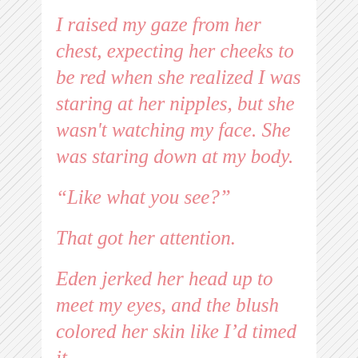I raised my gaze from her chest, expecting her cheeks to be red when she realized I was staring at her nipples, but she wasn't watching my face. She was staring down at my body.
“Like what you see?”
That got her attention.
Eden jerked her head up to meet my eyes, and the blush colored her skin like I’d timed it.
“You’re... big.”